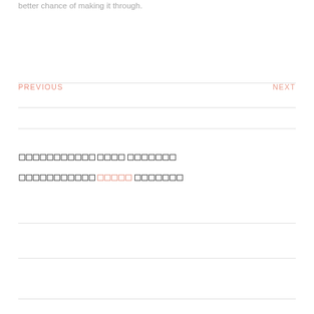better chance of making it through.
PREVIOUS    NEXT
[garbled text - tofu characters representing non-renderable glyphs]
[garbled text with salmon-colored middle word]